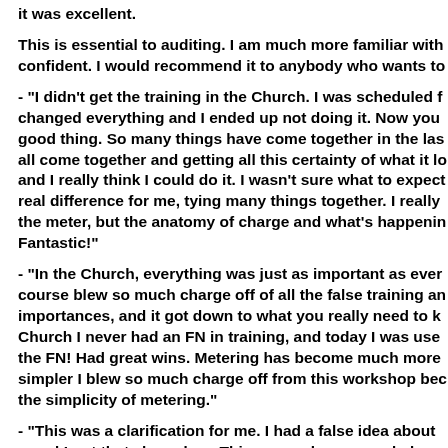it was excellent.
This is essential to auditing. I am much more familiar with confident. I would recommend it to anybody who wants to
- "I didn't get the training in the Church. I was scheduled f changed everything and I ended up not doing it. Now you good thing. So many things have come together in the las all come together and getting all this certainty of what it lo and I really think I could do it. I wasn't sure what to expect real difference for me, tying many things together. I really the meter, but the anatomy of charge and what's happenin Fantastic!"
- "In the Church, everything was just as important as ever course blew so much charge off of all the false training an importances, and it got down to what you really need to k Church I never had an FN in training, and today I was use the FN! Had great wins. Metering has become much more simpler I blew so much charge off from this workshop bec the simplicity of metering."
- "This was a clarification for me. I had a false idea about n and I got that cleared up. This course has expanded my kr drills has expanded my communication with physical thin